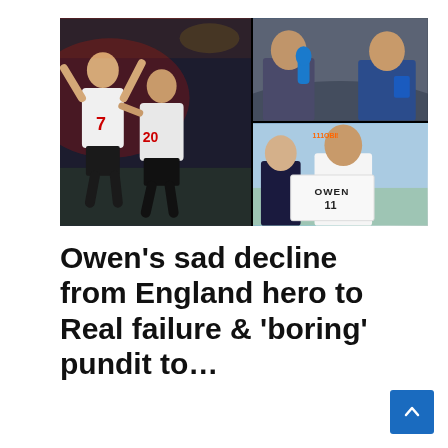[Figure (photo): Collage of three photos: left shows two England footballers (Beckham and Owen, wearing jerseys 7 and 20) celebrating; top right shows two men in suits/jackets as TV pundits holding a microphone; bottom right shows Michael Owen holding a Real Madrid shirt with number 11 and 'OWEN' printed on it, alongside an older man in a suit.]
Owen's sad decline from England hero to Real failure & 'boring' pundit to…